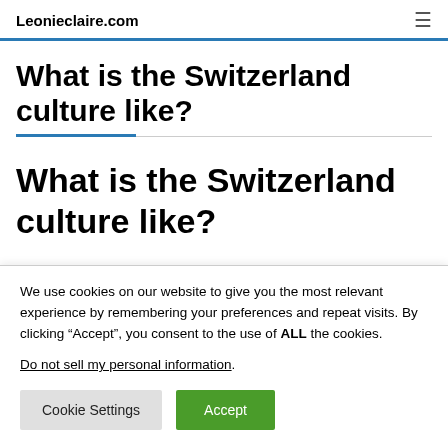Leonieclaire.com
What is the Switzerland culture like?
What is the Switzerland culture like?
We use cookies on our website to give you the most relevant experience by remembering your preferences and repeat visits. By clicking “Accept”, you consent to the use of ALL the cookies.
Do not sell my personal information.